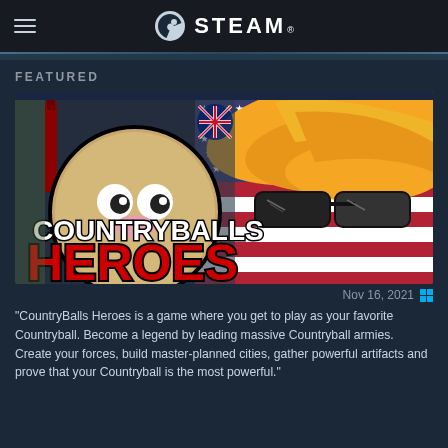STEAM
FEATURED
[Figure (illustration): CountryBalls Heroes game promotional banner featuring cartoon ball characters with American flag, sunglasses, and blonde hair. Text reads 'COUNTRYBALLS HEROES' in large white and red lettering.]
Nov 16, 2021
“CountryBalls Heroes is a game where you get to play as your favorite Countryball. Become a legend by leading massive Countryball armies. Create your forces, build master-planned cities, gather powerful artifacts and prove that your Countryball is the most powerful.”